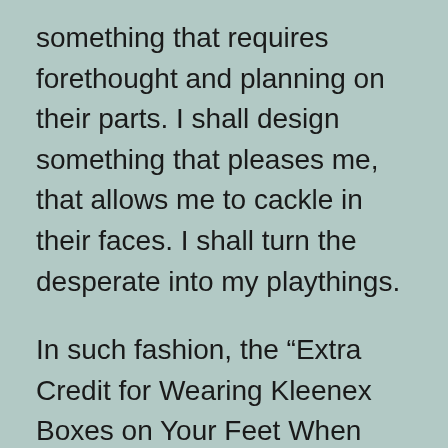something that requires forethought and planning on their parts. I shall design something that pleases me, that allows me to cackle in their faces. I shall turn the desperate into my playthings.
In such fashion, the “Extra Credit for Wearing Kleenex Boxes on Your Feet When You Come to Class” assignment was born.
As random as this seems, the idea does grow–extremely tangentially–out of some classroom material. See, the first paper of the semester is a Division/Classification essay, in which